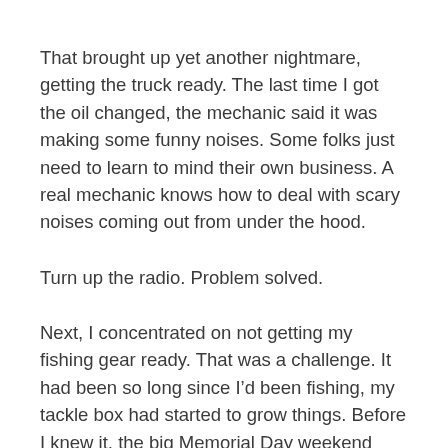That brought up yet another nightmare, getting the truck ready. The last time I got the oil changed, the mechanic said it was making some funny noises. Some folks just need to learn to mind their own business. A real mechanic knows how to deal with scary noises coming out from under the hood.
Turn up the radio. Problem solved.
Next, I concentrated on not getting my fishing gear ready. That was a challenge. It had been so long since I'd been fishing, my tackle box had started to grow things. Before I knew it, the big Memorial Day weekend arrived.
Saturday, I went to a cozy little breakfast place I often enjoyed before not going fishing, called “the